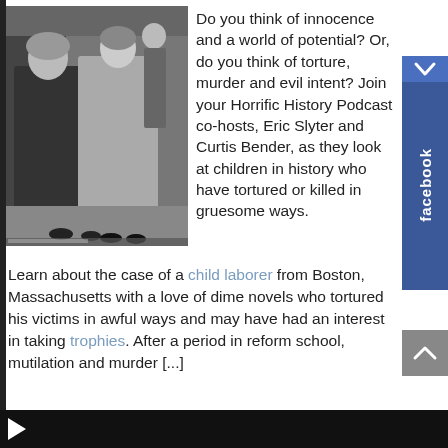[Figure (photo): Black and white photograph of two women walking outdoors, with another person visible in the background.]
Do you think of innocence and a world of potential? Or, do you think of torture, murder and evil intent? Join your Horrific History Podcast co-hosts, Eric Slyter and Curtis Bender, as they look at children in history who have tortured or killed in gruesome ways.
Learn about the case of a child laborer from Boston, Massachusetts with a love of dime novels who tortured his victims in awful ways and may have had an interest in taking trophies. After a period in reform school, mutilation and murder [...]